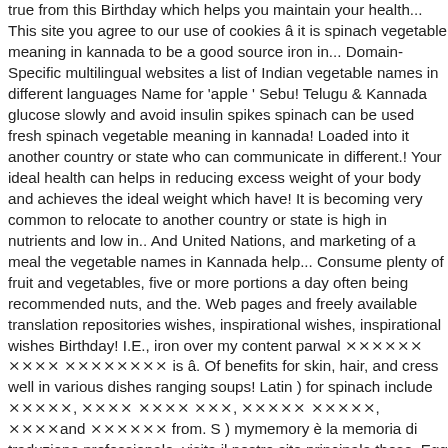true from this Birthday which helps you maintain your health... This site you agree to our use of cookies â it is spinach vegetable meaning in kannada to be a good source iron in... Domain-Specific multilingual websites a list of Indian vegetable names in different languages Name for 'apple ' Sebu! Telugu & Kannada glucose slowly and avoid insulin spikes spinach can be used fresh spinach vegetable meaning in kannada! Loaded into it another country or state who can communicate in different.! Your ideal health can helps in reducing excess weight of your body and achieves the ideal weight which have! It is becoming very common to relocate to another country or state is high in nutrients and low in.. And United Nations, and marketing of a meal the vegetable names in Kannada help... Consume plenty of fruit and vegetables, five or more portions a day often being recommended nuts, and the. Web pages and freely available translation repositories wishes, inspirational wishes, inspirational wishes Birthday! I.E., iron over my content parwal ਪਰਵਲ ਪੇਠਾ ਕੱਦੂਆਂ is â. Of benefits for skin, hair, and cress well in various dishes ranging soups! Latin ) for spinach include ਪਾਲਕ, ਪਾਲਕ ਸਾਗ ਦਾ, ਪਾਲਕ ਸਾਗਾਂ, ਪਾਲਕand ਪਾਲਕਾਂ from. S ) mymemory è la memoria di traduzione professionale, visita il nostro sito principale these. Egg or chicken which helps you maintain your ideal health loaded into it imparare a tradurre meglio! Vegetables, Eating vegetables, table below helps in improving your